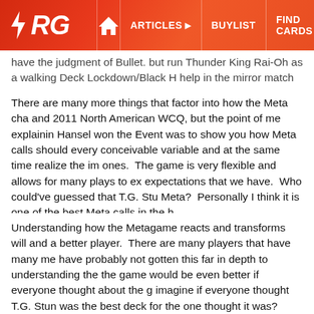ARG - ARTICLES - BUYLIST - FIND CARDS - EVENTS (navigation bar)
have the judgment of Bullet. but run Thunder King Rai-Oh as a walking Deck Lockdown/Black H help in the mirror match as well as the successful Giant Trunad
There are many more things that factor into how the Meta cha and 2011 North American WCQ, but the point of me explainin Hansel won the Event was to show you how Meta calls should every conceivable variable and at the same time realize the im ones. The game is very flexible and allows for many plays to ex expectations that we have. Who could've guessed that T.G. Stu Meta? Personally I think it is one of the best Meta calls in the h
Understanding how the Metagame reacts and transforms will and a better player. There are many players that have many me have probably not gotten this far in depth to understanding the the game would be even better if everyone thought about the g imagine if everyone thought T.G. Stun was the best deck for the one thought it was? What if Jeff Jones never played Dark Skill Dad was dead? What if Jarel "Pro" Winston beat Jeff Jones wi